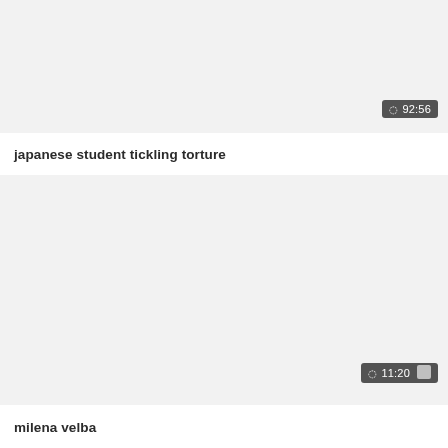[Figure (screenshot): Video thumbnail placeholder (light gray background) for 'japanese student tickling torture']
⏱ 92:56
japanese student tickling torture
[Figure (screenshot): Video thumbnail placeholder (light gray background) for 'milena velba']
⏱ 11:20
milena velba